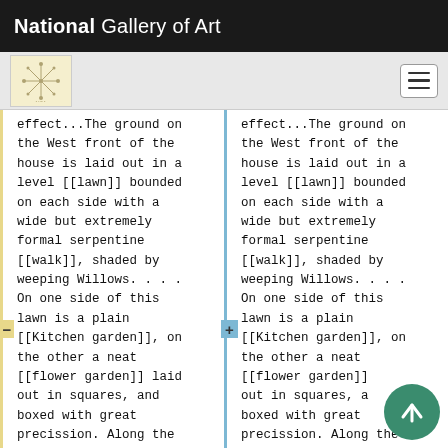National Gallery of Art
[Figure (logo): Navigation bar with NGA logo and hamburger menu icon]
effect...The ground on the West front of the house is laid out in a level [[lawn]] bounded on each side with a wide but extremely formal serpentine [[walk]], shaded by weeping Willows. . . . On one side of this lawn is a plain [[Kitchen garden]], on the other a neat [[flower garden]] laid out in squares, and boxed with great precission. Along the
effect...The ground on the West front of the house is laid out in a level [[lawn]] bounded on each side with a wide but extremely formal serpentine [[walk]], shaded by weeping Willows. . . . On one side of this lawn is a plain [[Kitchen garden]], on the other a neat [[flower garden]] laid out in squares, and boxed with great precission. Along the